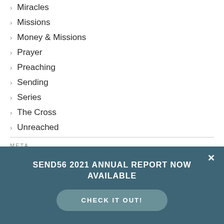> Miracles
> Missions
> Money & Missions
> Prayer
> Preaching
> Sending
> Series
> The Cross
> Unreached
META
SEND56 2021 ANNUAL REPORT NOW AVAILABLE
CHECK IT OUT!